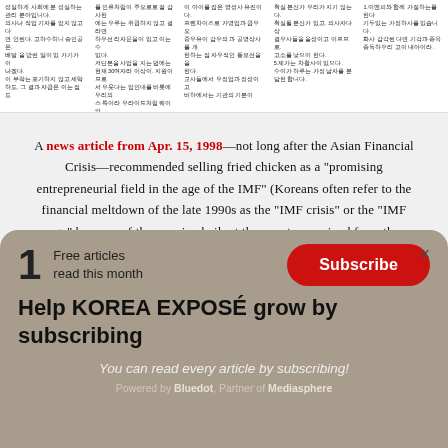[Figure (photo): Korean newspaper clipping with multiple columns of Korean text]
A news article from Apr. 15, 1998—not long after the Asian Financial Crisis—recommended selling fried chicken as a "promising entrepreneurial field in the age of the IMF" (Koreans often refer to the financial meltdown of the late 1990s as the "IMF crisis" or the "IMF age" because of the massive bailout the country received from the International Monetary Fund.
1 Free articles read this month
Subscribe
Help KOREA EXPOSÉ grow by subscribing
You can read every article by subscribing!
Powered by Bluedot, Partner of Mediasphere